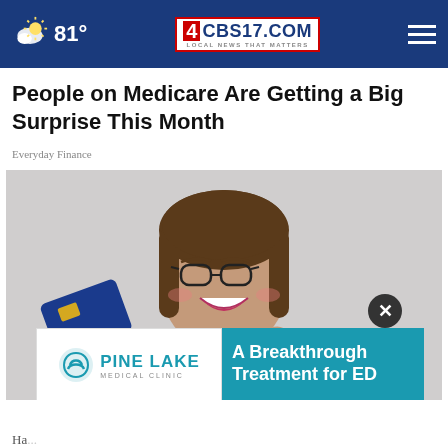81° | CBS17.COM LOCAL NEWS THAT MATTERS
People on Medicare Are Getting a Big Surprise This Month
Everyday Finance
[Figure (photo): Smiling woman with glasses holding up a blue credit card and pointing at it excitedly, wearing a white shirt]
[Figure (infographic): Advertisement overlay: Pine Lake Medical Clinic | A Breakthrough Treatment for ED]
Ha...